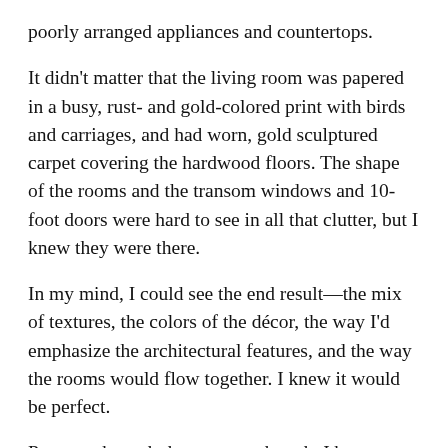poorly arranged appliances and countertops.
It didn't matter that the living room was papered in a busy, rust- and gold-colored print with birds and carriages, and had worn, gold sculptured carpet covering the hardwood floors. The shape of the rooms and the transom windows and 10-foot doors were hard to see in all that clutter, but I knew they were there.
In my mind, I could see the end result—the mix of textures, the colors of the décor, the way I'd emphasize the architectural features, and the way the rooms would flow together. I knew it would be perfect.
Partway through the process, though, I became less sure. Much less. We had a whole house to redo. Although the lines were good, every surface needed something. Peeling up the shag carpet, we discovered a spongy residue that had to be scraped off by hand. Removing wallpaper